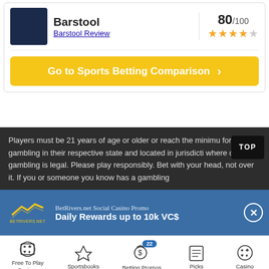[Figure (screenshot): Barstool sportsbook card with dark blue logo box, name 'Barstool', link 'Barstool Review', score 80/100 with 4 gold stars]
Barstool
Barstool Review
80/100 ★★★★
Go to Sports Betting Comparison ›
Players must be 21 years of age or older or reach the minimu for gambling in their respective state and located in jurisdicti where online gambling is legal. Please play responsibly. Bet with your head, not over it. If you or someone you know has a gambling
[Figure (infographic): BetRivers.net Social Casino Promo ad banner with gold logo, text 'Daily Rewards up to 10k VC$' and close button]
BetRivers.net Social Casino Promo
Daily Rewards up to 10k VC$
[Figure (infographic): Bottom navigation bar with icons: Free To Play Casinos, Sportsbooks, Betting Promos (badge 22), Picks, Casino]